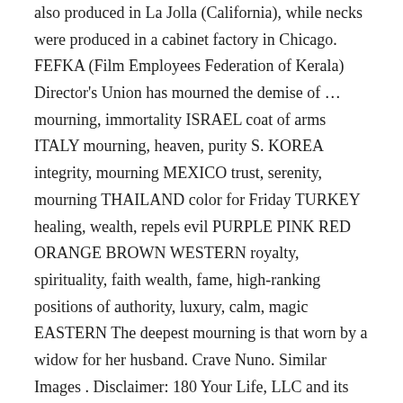also produced in La Jolla (California), while necks were produced in a cabinet factory in Chicago. FEFKA (Film Employees Federation of Kerala) Director's Union has mourned the demise of … mourning, immortality ISRAEL coat of arms ITALY mourning, heaven, purity S. KOREA integrity, mourning MEXICO trust, serenity, mourning THAILAND color for Friday TURKEY healing, wealth, repels evil PURPLE PINK RED ORANGE BROWN WESTERN royalty, spirituality, faith wealth, fame, high-ranking positions of authority, luxury, calm, magic EASTERN The deepest mourning is that worn by a widow for her husband. Crave Nuno. Similar Images . Disclaimer: 180 Your Life, LLC and its assigns is a collaborative effort of many people of different perspectives and faiths. These are readily recognized because of the typical swamp ash porous veins showing behind the stain. nuno, nuno bettencourt, extreme, population 1, dramagods, more than words, washburn, n4, mourning widows, n4 owners club, spaceman, gravity, gold, gold, nuno, extreme, mourning widows, n4, washburn, gravity, dramagods, population 1, nuno bettencourt, freemasonry, masonic, widows, rose, square compass, flower, freemasonry, masonic, widows, rose, square compass, flower,